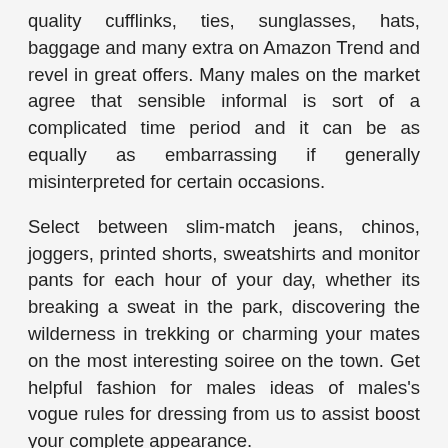quality cufflinks, ties, sunglasses, hats, baggage and many extra on Amazon Trend and revel in great offers. Many males on the market agree that sensible informal is sort of a complicated time period and it can be as equally as embarrassing if generally misinterpreted for certain occasions.
Select between slim-match jeans, chinos, joggers, printed shorts, sweatshirts and monitor pants for each hour of your day, whether its breaking a sweat in the park, discovering the wilderness in trekking or charming your mates on the most interesting soiree on the town. Get helpful fashion for males ideas of males's vogue rules for dressing from us to assist boost your complete appearance.
is dedicated to giving you the absolute best online buying experience That is why we provide the latest footwear and vogue to suit everyone's type and price